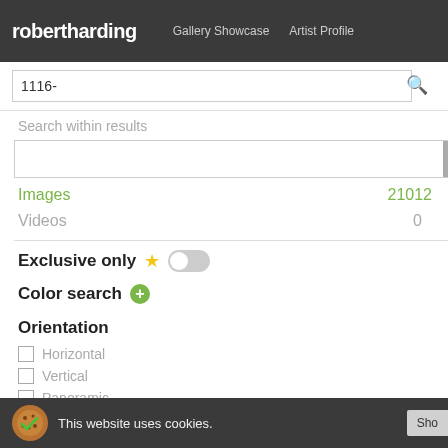robertharding   Gallery Showcase   Artist Profile
1116-
Search within results
Images   21012
Videos   0
Exclusive only
Color search
Orientation
Horizontal
Vertical
Panoramic
[Figure (photo): Photo of rocks with yellow lichen and flowing water/waterfall]
[Figure (photo): Photo of yellow bananas on a bright green background]
[Figure (photo): Partial photo at bottom, animals visible]
This website uses cookies.
Sho